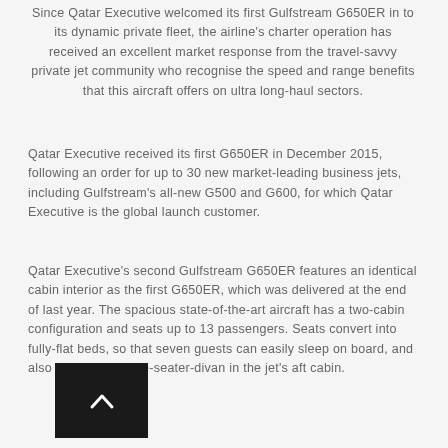Since Qatar Executive welcomed its first Gulfstream G650ER in to its dynamic private fleet, the airline's charter operation has received an excellent market response from the travel-savvy private jet community who recognise the speed and range benefits that this aircraft offers on ultra long-haul sectors.
Qatar Executive received its first G650ER in December 2015, following an order for up to 30 new market-leading business jets, including Gulfstream's all-new G500 and G600, for which Qatar Executive is the global launch customer.
Qatar Executive's second Gulfstream G650ER features an identical cabin interior as the first G650ER, which was delivered at the end of last year. The spacious state-of-the-art aircraft has a two-cabin configuration and seats up to 13 passengers. Seats convert into fully-flat beds, so that seven guests can easily sleep on board, and also provides a three-seater-divan in the jet's aft cabin.
[Figure (other): Dark button with upward chevron arrow icon]